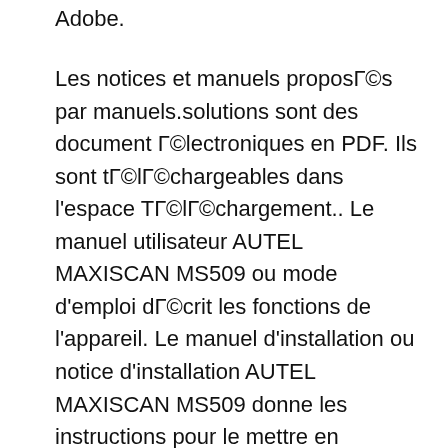Document Format inventГ© par Adobe.
Les notices et manuels proposГ©s par manuels.solutions sont des document Г©lectroniques en PDF. Ils sont tГ©lГ©chargeables dans l'espace TГ©lГ©chargement.. Le manuel utilisateur AUTEL MAXISCAN MS509 ou mode d'emploi dГ©crit les fonctions de l'appareil. Le manuel d'installation ou notice d'installation AUTEL MAXISCAN MS509 donne les instructions pour le mettre en service. 05/01/2012В В· My car was stuttering and I didn't want to take it to my local car repair shop that charged me like $50. Anyways, I ordered this cheap OBD II scanner and works well, I found out I just need to get